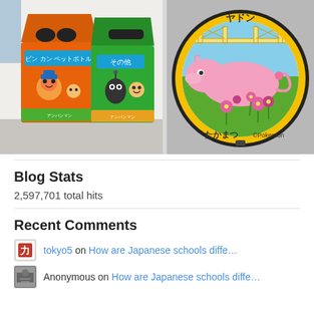[Figure (photo): Two anime-decorated recycling bins — an orange one on the left with Anpanman characters and Japanese text 'ビン カン ペットボトル', and a green one with other anime characters and text 'その他'. Both bins feature cartoon mascot decals.]
[Figure (photo): A decorative manhole cover featuring the Pokemon Slowpoke (Yadon) lying on grass with pink flowers. Japanese text reads 'ヤドン' at the top and 'たかまつ ©Pokemon' at the bottom. The cover has a yellow border ring on a black base.]
Blog Stats
2,597,701 total hits
Recent Comments
tokyo5 on How are Japanese schools diffe…
Anonymous on How are Japanese schools diffe…